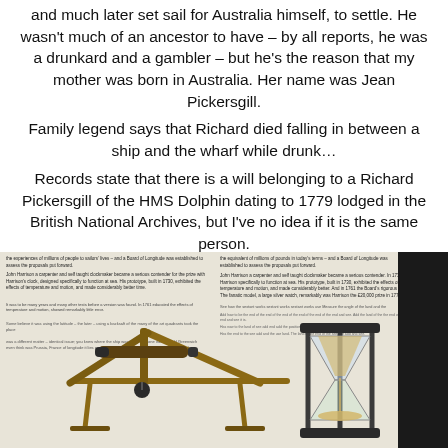and much later set sail for Australia himself, to settle. He wasn't much of an ancestor to have – by all reports, he was a drunkard and a gambler – but he's the reason that my mother was born in Australia. Her name was Jean Pickersgill.
Family legend says that Richard died falling in between a ship and the wharf while drunk…
Records state that there is a will belonging to a Richard Pickersgill of the HMS Dolphin dating to 1779 lodged in the British National Archives, but I've no idea if it is the same person.
[Figure (photo): Photograph of an open book page showing text about navigation/longitude, with navigational instruments visible including what appears to be a sextant-like device and an hourglass, photographed on a table.]